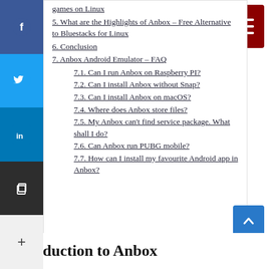games on Linux
5. What are the Highlights of Anbox – Free Alternative to Bluestacks for Linux
6. Conclusion
7. Anbox Android Emulator – FAQ
7.1. Can I run Anbox on Raspberry PI?
7.2. Can I install Anbox without Snap?
7.3. Can I install Anbox on macOS?
7.4. Where does Anbox store files?
7.5. My Anbox can't find service package. What shall I do?
7.6. Can Anbox run PUBG mobile?
7.7. How can I install my favourite Android app in Anbox?
Introduction to Anbox